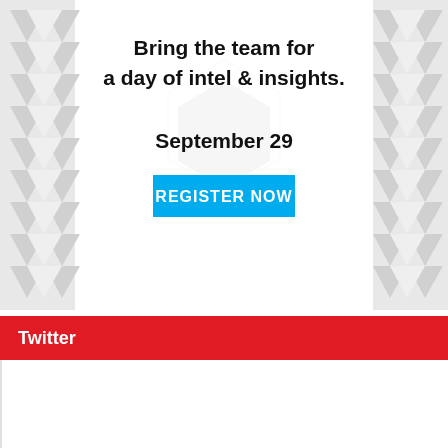[Figure (infographic): Promotional banner with triangle decorations on left and right sides, containing text 'Bring the team for a day of intel & insights.' and date 'September 29' with a cyan 'REGISTER NOW' button]
Twitter